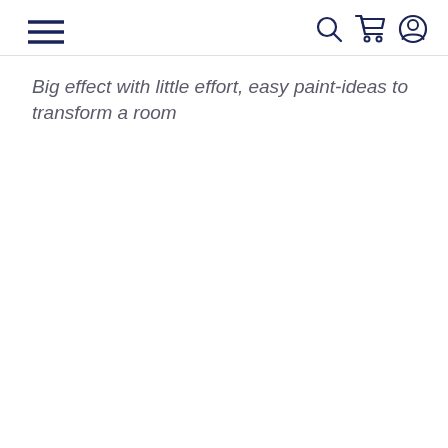[navigation bar with hamburger menu, search, cart, and account icons]
Big effect with little effort, easy paint-ideas to transform a room